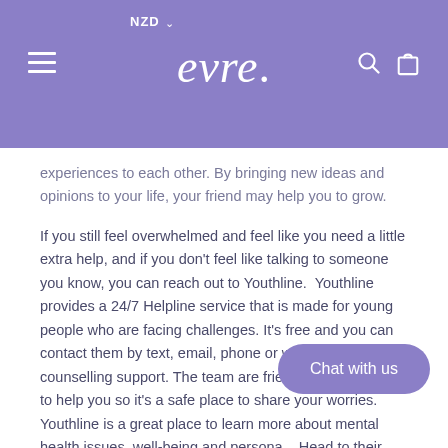NZD  evre.
experiences to each other. By bringing new ideas and opinions to your life, your friend may help you to grow.
If you still feel overwhelmed and feel like you need a little extra help, and if you don't feel like talking to someone you know, you can reach out to Youthline.  Youthline provides a 24/7 Helpline service that is made for young people who are facing challenges. It's free and you can contact them by text, email, phone or webchat for counselling support. The team are friendly and know how to help you so it's a safe place to share your worries. Youthline is a great place to learn more about mental health issues, well-being and personal... Head to their website www.youthline.c... to understand more.